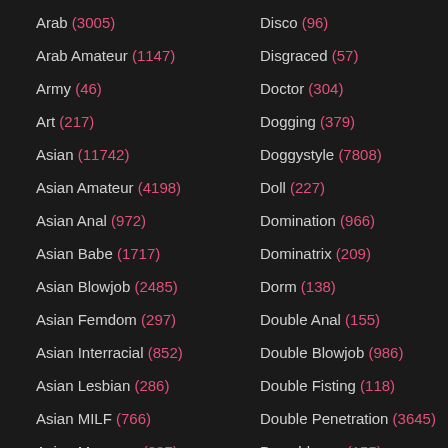Arab (3005)
Arab Amateur (1147)
Army (46)
Art (217)
Asian (11742)
Asian Amateur (4198)
Asian Anal (972)
Asian Babe (1717)
Asian Blowjob (2485)
Asian Femdom (297)
Asian Interracial (852)
Asian Lesbian (286)
Asian MILF (766)
Asian Massage (237)
Asian Teen (2024)
Ass (29838)
Disco (96)
Disgraced (57)
Doctor (304)
Dogging (379)
Doggystyle (7808)
Doll (227)
Domination (966)
Dominatrix (209)
Dorm (138)
Double Anal (155)
Double Blowjob (986)
Double Fisting (118)
Double Penetration (3645)
Downblouse (155)
Dream (217)
Dress (465)